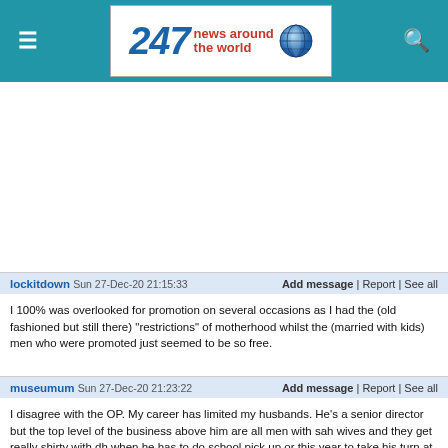[Figure (logo): 247 news around the world logo in header bar]
lockitdown  Sun 27-Dec-20 21:15:33    Add message | Report | See all
I 100% was overlooked for promotion on several occasions as I had the (old fashioned but still there) "restrictions" of motherhood whilst the (married with kids) men who were promoted just seemed to be so free.
museumum  Sun 27-Dec-20 21:23:22    Add message | Report | See all
I disagree with the OP. My career has limited my husbands. He's a senior director but the top level of the business above him are all men with sah wives and they get really shirty with dh when he has to do school pick up or this year to take his turn at home learning.
He would probably rise higher if I'd given up my career but I have no intention of that and he